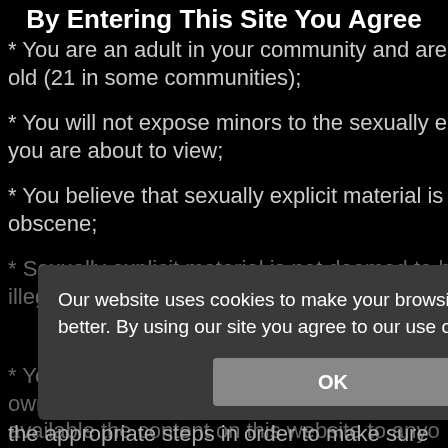By Entering This Site You Agree
* You are an adult in your community and are old (21 in some communities);
* You will not expose minors to the sexually e you are about to view;
* You believe that sexually explicit material is obscene;
* Sexually explicit material is not deemed to b illegal in your community. You wish to vie
Our website uses cookies to make your browsing experience better. By using our site you agree to our use of cookies.
OK
* You will use the material available on this w own personal use and will not sell, distribute, available the content on this website to anyo
the appropriate steps in order to make sure